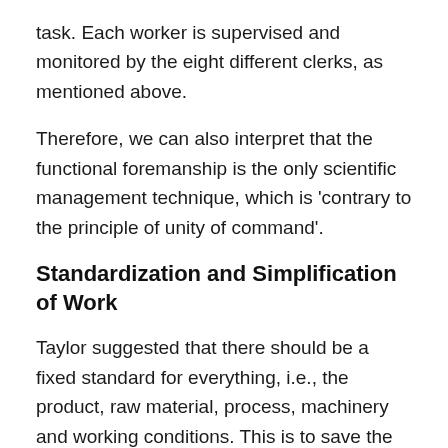task. Each worker is supervised and monitored by the eight different clerks, as mentioned above.
Therefore, we can also interpret that the functional foremanship is the only scientific management technique, which is 'contrary to the principle of unity of command'.
Standardization and Simplification of Work
Taylor suggested that there should be a fixed standard for everything, i.e., the product, raw material, process, machinery and working conditions. This is to save the time and cost